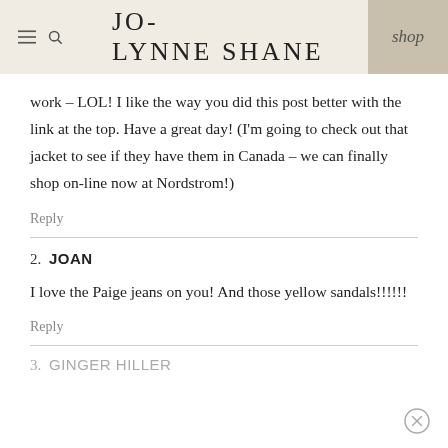JO-LYNNE SHANE | shop
work – LOL! I like the way you did this post better with the link at the top. Have a great day! (I'm going to check out that jacket to see if they have them in Canada – we can finally shop on-line now at Nordstrom!)
Reply
2. JOAN
I love the Paige jeans on you! And those yellow sandals!!!!!!
Reply
3. GINGER HILLER